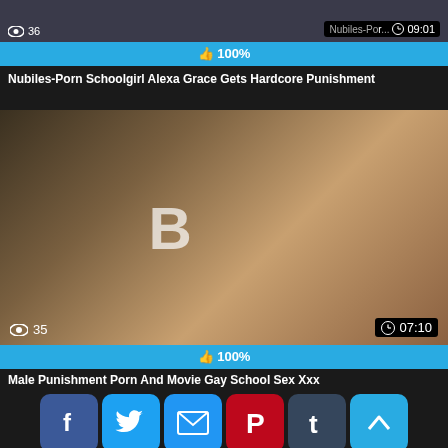[Figure (screenshot): Video thumbnail top partial view with view count 36 and duration 09:01]
100%
Nubiles-Porn Schoolgirl Alexa Grace Gets Hardcore Punishment
[Figure (screenshot): Video thumbnail showing two people, view count 35, duration 07:10]
100%
Male Punishment Porn And Movie Gay School Sex Xxx
[Figure (screenshot): Social share buttons: Facebook, Twitter, Email, Pinterest, Tumblr, scroll-up; Reddit, Blogger, WordPress, VK, More]
[Figure (screenshot): Bottom video thumbnail partial view]